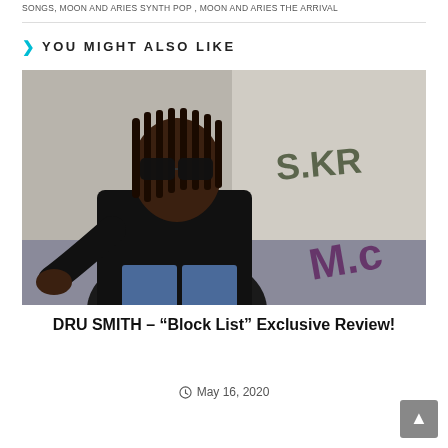SONGS, MOON AND ARIES SYNTH POP, MOON AND ARIES THE ARRIVAL
YOU MIGHT ALSO LIKE
[Figure (photo): A man with long dreadlocks, wearing sunglasses and a black leather jacket, sitting in front of a wall with graffiti tags in dark green and purple.]
DRU SMITH – “Block List” Exclusive Review!
May 16, 2020